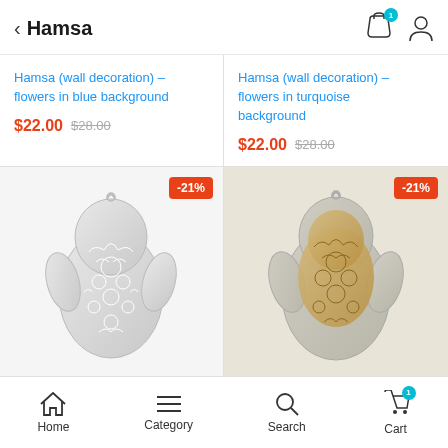Hamsa
Hamsa (wall decoration) – flowers in blue background
$22.00  $28.00
Hamsa (wall decoration) – flowers in turquoise background
$22.00  $28.00
[Figure (photo): Silver/white Hamsa hand wall decoration with floral pattern, -21% discount badge]
[Figure (photo): Gold/beige Hamsa hand wall decoration with floral pattern, -21% discount badge]
Home | Category | Search | Cart